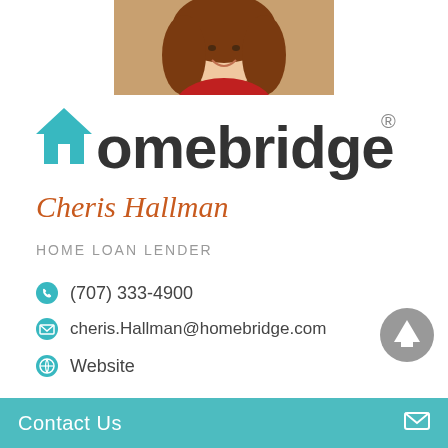[Figure (photo): Headshot photo of Cheris Hallman, a woman with curly brown hair wearing a red top, smiling]
[Figure (logo): Homebridge logo with teal house/roof icon replacing the H in Homebridge, registered trademark symbol, dark gray sans-serif text]
Cheris Hallman
HOME LOAN LENDER
(707) 333-4900
cheris.Hallman@homebridge.com
Website
NMLS#: 252000
Contact Us